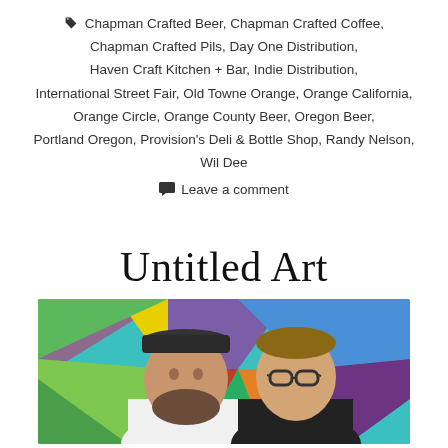Chapman Crafted Beer, Chapman Crafted Coffee, Chapman Crafted Pils, Day One Distribution, Haven Craft Kitchen + Bar, Indie Distribution, International Street Fair, Old Towne Orange, Orange California, Orange Circle, Orange County Beer, Oregon Beer, Portland Oregon, Provision's Deli & Bottle Shop, Randy Nelson, Wil Dee
Leave a comment
Untitled Art
[Figure (photo): Two men smiling in front of a colorful geometric mural with triangles in yellow, green, blue, purple, and red.]